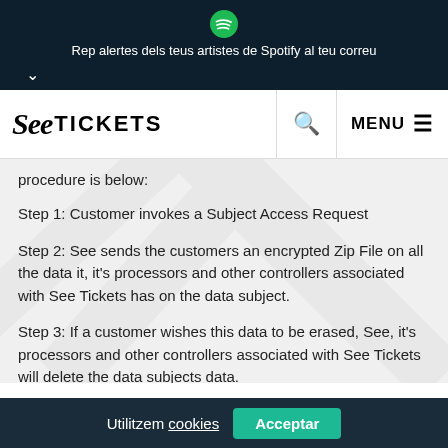Rep alertes dels teus artistes de Spotify al teu correu
[Figure (logo): See Tickets logo with search and menu navigation bar]
procedure is below:
Step 1: Customer invokes a Subject Access Request
Step 2: See sends the customers an encrypted Zip File on all the data it, it's processors and other controllers associated with See Tickets has on the data subject.
Step 3: If a customer wishes this data to be erased, See, it's processors and other controllers associated with See Tickets will delete the data subjects data.
Utilitzem cookies Acceptar